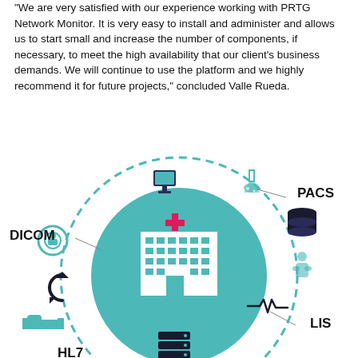“We are very satisfied with our experience working with PRTG Network Monitor. It is very easy to install and administer and allows us to start small and increase the number of components, if necessary, to meet the high availability that our client’s business demands. We will continue to use the platform and we highly recommend it for future projects,” concluded Valle Rueda.
[Figure (infographic): Circular medical network infographic showing a hospital building at the center (teal circle) with a red cross, surrounded by dashed circle with various medical system icons: computer workstation (top center), laboratory flask (top right), database stack (right), patient/person icon (right), ECG/heartbeat line (right-bottom), server stack (bottom center), hand with stethoscope (bottom right), bed (bottom left), refresh/sync arrows (left), MRI/scan icon (left). Labels around the outside: PACS (top right), DICOM (left), LIS (right bottom), HL7 (bottom left, partially visible).]